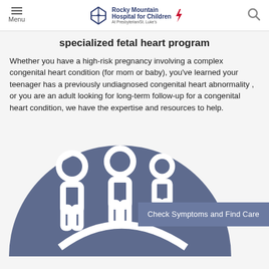Menu | Rocky Mountain Hospital for Children | At Presbyterian/St. Luke's
specialized fetal heart program
Whether you have a high-risk pregnancy involving a complex congenital heart condition (for mom or baby), you've learned your teenager has a previously undiagnosed congenital heart abnormality , or you are an adult looking for long-term follow-up for a congenital heart condition, we have the expertise and resources to help.
[Figure (illustration): Dark blue-grey circular graphic showing stylized figures of people (adults and children), with a button overlay reading 'Check Symptoms and Find Care']